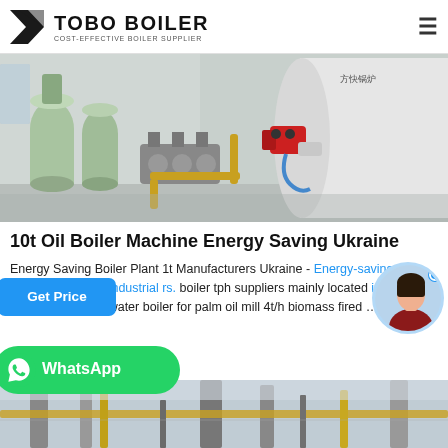TOBO BOILER — COST-EFFECTIVE BOILER SUPPLIER
[Figure (photo): Industrial boiler facility interior showing large white cylindrical boiler with red burner attachment, water treatment tanks on left, and yellow piping]
10t Oil Boiler Machine Energy Saving Ukraine
Energy Saving Boiler Plant 1t Manufacturers Ukraine - Energy-saving 4t/h boiler single tube Industrial boilers. boiler tph suppliers mainly located in Asia biomass fired hot water boiler for palm oil mill 4t/h biomass fired ...
[Figure (photo): Industrial boiler plant facility exterior/interior showing tall steel structures and yellow piping]